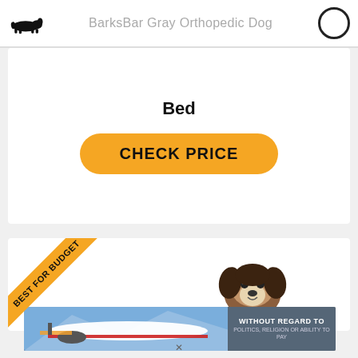BarksBar Gray Orthopedic Dog Bed
Bed
CHECK PRICE
[Figure (illustration): Best For Budget diagonal banner with dog photo on white card background]
[Figure (photo): Advertisement banner showing cargo aircraft and text WITHOUT REGARD TO POLITICS, RELIGION OR ABILITY TO PAY]